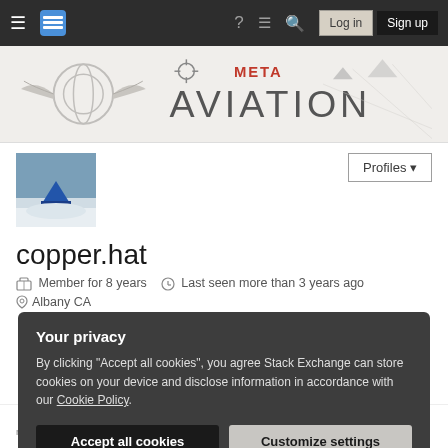Navigation bar with hamburger menu, Stack Exchange logo, help, chat, search icons, Log in and Sign up buttons
[Figure (logo): Aviation Meta Stack Exchange banner logo with wings graphic and META AVIATION text]
[Figure (photo): User avatar image showing a tent in snowy outdoor scene]
Profiles
copper.hat
Member for 8 years   Last seen more than 3 years ago
Albany CA
Your privacy
By clicking "Accept all cookies", you agree Stack Exchange can store cookies on your device and disclose information in accordance with our Cookie Policy.
Accept all cookies
Customize settings
166 reputation   60 reached   0 answers   1 question   top 42% overall